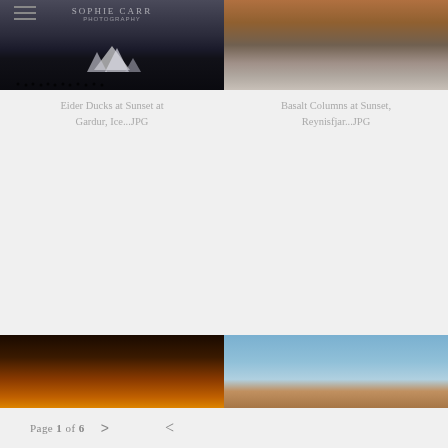[Figure (photo): Photography portfolio website screenshot showing 4 landscape photos in a 2x2 grid from Iceland - eider ducks, basalt columns, sunset at Dyrholaey Arch, and basalt columns again]
Eider Ducks at Sunset at Gardur, Ice...JPG
Basalt Columns at Sunset, Reynisfjar...JPG
View of Dyrholaey Arch After Sunset...JPG
Basalt Columns at Sunset, Reynisfjar...JPG
Page 1 of 6